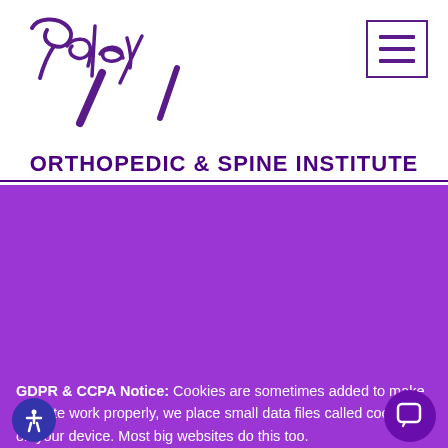[Figure (logo): Paley Orthopedic & Spine Institute logo with cursive Paley text and stylized slash marks in purple]
ORTHOPEDIC & SPINE INSTITUTE
GDPR & CCPA Notice: Cookies are sometimes added to make this site work properly, we place small data files called cookies on your device. Most big websites do this too.

We won't collect any data if you select decline
✔ Accept
Decline ✖